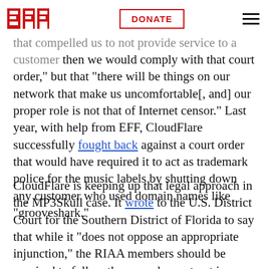EFF | DONATE
CEO previously said on the company’s blog that “if we were to receive a valid court order that compelled us to not provide service to a customer then we would comply with that court order,” but that “there will be things on our network that make us uncomfortable[, and] our proper role is not that of Internet censor.” Last year, with help from EFF, CloudFlare successfully fought back against a court order that would have required it to act as trademark police for the music labels by shutting down any customer who used domain names like “grooveshark.”
CloudFlare is keeping up that legal approach in the MP3Skull case. It wrote to the U.S. District Court for the Southern District of Florida to say that while it “does not oppose an appropriate injunction,” the RIAA members should be required to follow the procedure set out in Section 512(i) of the Digital